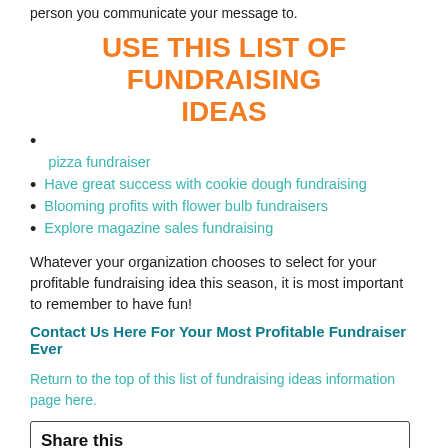person you communicate your message to.
USE THIS LIST OF FUNDRAISING IDEAS
pizza fundraiser
Have great success with cookie dough fundraising
Blooming profits with flower bulb fundraisers
Explore magazine sales fundraising
Whatever your organization chooses to select for your profitable fundraising idea this season, it is most important to remember to have fun!
Contact Us Here For Your Most Profitable Fundraiser Ever
Return to the top of this list of fundraising ideas information page here.
Share this page:
What's this?